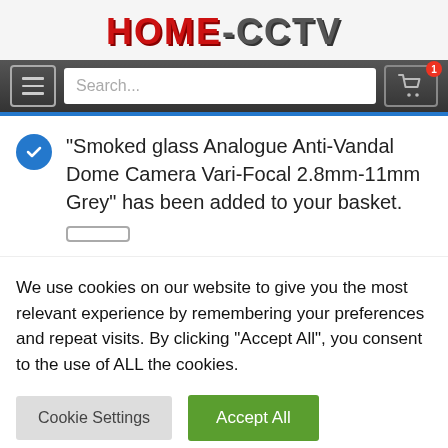[Figure (logo): HOME-CCTV logo in red and grey bold text]
[Figure (screenshot): Navigation bar with hamburger menu, search box, and cart button with badge showing 1]
“Smoked glass Analogue Anti-Vandal Dome Camera Vari-Focal 2.8mm-11mm Grey” has been added to your basket.
We use cookies on our website to give you the most relevant experience by remembering your preferences and repeat visits. By clicking “Accept All”, you consent to the use of ALL the cookies.
Cookie Settings
Accept All